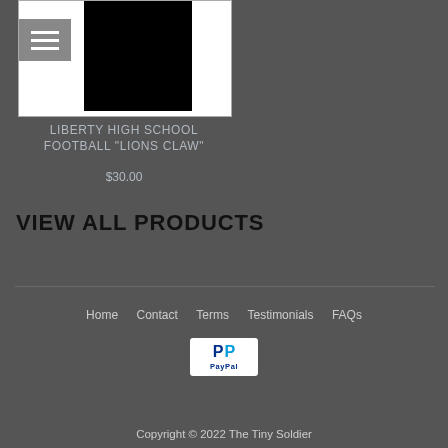[Figure (photo): Product image for Liberty High School Football Lions Claw item — white background with black rectangle graphic, with a hamburger menu button overlay in top-left]
LIBERTY HIGH SCHOOL FOOTBALL "LIONS CLAW"
$30.00
VIEW ALL PRODUCTS
Home  Contact  Terms  Testimonials  FAQs
[Figure (logo): PayPal logo button]
Copyright © 2022 The Tiny Soldier